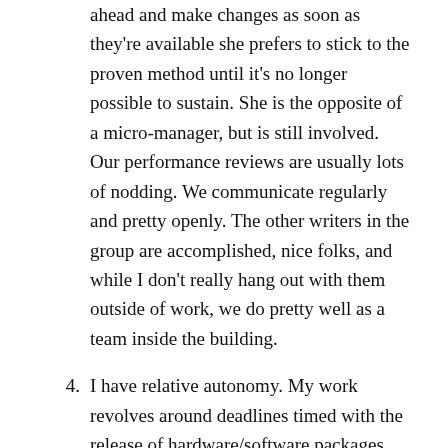ahead and make changes as soon as they're available she prefers to stick to the proven method until it's no longer possible to sustain. She is the opposite of a micro-manager, but is still involved. Our performance reviews are usually lots of nodding. We communicate regularly and pretty openly. The other writers in the group are accomplished, nice folks, and while I don't really hang out with them outside of work, we do pretty well as a team inside the building.
4. I have relative autonomy. My work revolves around deadlines timed with the release of hardware/software packages. As such, there are ebbs and flows. As I mentioned earlier, my boss prefers to not meddle with things unless intervention is necessary, so when I need a day off, she presumes that I have a grasp on my work and being out won't affect my deliverables. I don't have to tap dance. And every year I end up with surplus